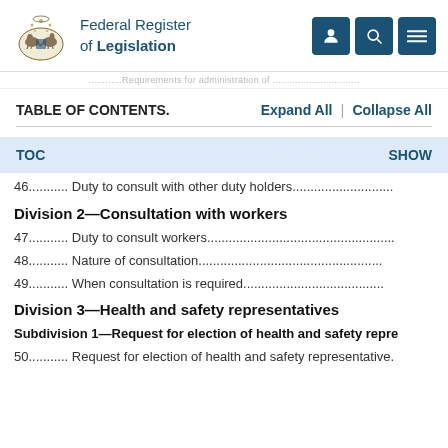Federal Register of Legislation
...........Requirements for administration of ...............
TABLE OF CONTENTS.   Expand All  |  Collapse All
TOC   SHOW
46........... Duty to consult with other duty holders............................
Division 2—Consultation with workers
47........... Duty to consult workers....................................................
48........... Nature of consultation...................................................
49........... When consultation is required.......................................
Division 3—Health and safety representatives
Subdivision 1—Request for election of health and safety repre
50........... Request for election of health and safety representative.